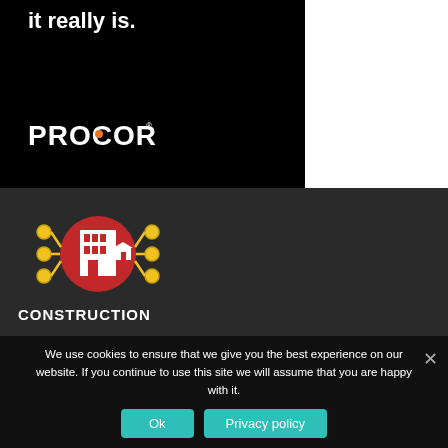it really is.
[Figure (logo): Procore logo in white text on black background]
[Figure (logo): Construction network logo: red circle with white building icon, surrounded by yellow gear/node connectors]
CONSTRUCTION
We use cookies to ensure that we give you the best experience on our website. If you continue to use this site we will assume that you are happy with it.